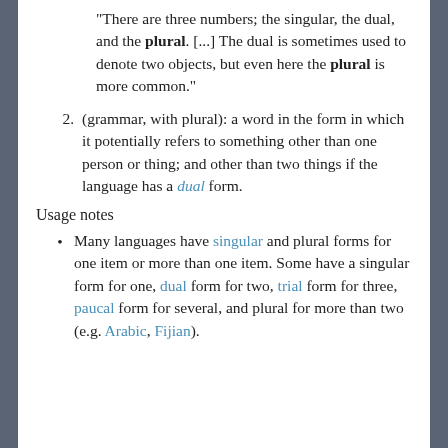"There are three numbers; the singular, the dual, and the plural. [...] The dual is sometimes used to denote two objects, but even here the plural is more common."
(grammar, with plural): a word in the form in which it potentially refers to something other than one person or thing; and other than two things if the language has a dual form.
Usage notes
Many languages have singular and plural forms for one item or more than one item. Some have a singular form for one, dual form for two, trial form for three, paucal form for several, and plural for more than two (e.g. Arabic, Fijian).